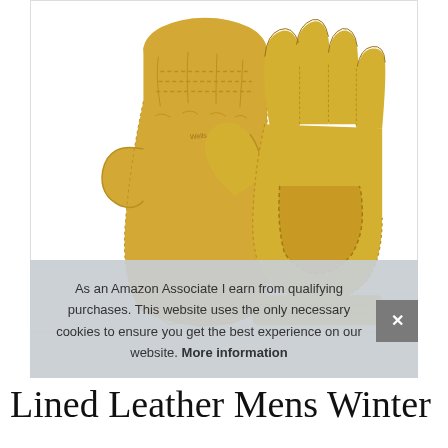[Figure (photo): Two yellow/tan leather work gloves shown side by side — left glove showing the back, right glove showing the palm — against a white background. The gloves are grain leather with stitched seams.]
As an Amazon Associate I earn from qualifying purchases. This website uses the only necessary cookies to ensure you get the best experience on our website. More information
Lined Leather Mens Winter Leather